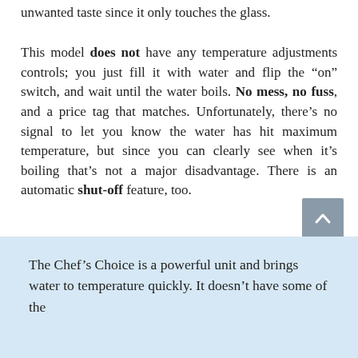unwanted taste since it only touches the glass.
This model does not have any temperature adjustments controls; you just fill it with water and flip the “on” switch, and wait until the water boils. No mess, no fuss, and a price tag that matches. Unfortunately, there’s no signal to let you know the water has hit maximum temperature, but since you can clearly see when it’s boiling that’s not a major disadvantage. There is an automatic shut-off feature, too.
The Chef’s Choice is a powerful unit and brings water to temperature quickly. It doesn’t have some of the